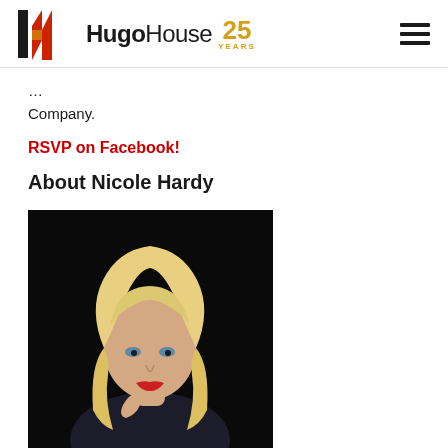Hugo House 25 YEARS
Company.
RSVP on Facebook!
About Nicole Hardy
[Figure (photo): Portrait photo of Nicole Hardy, a blonde woman with bangs, wearing black, against a black background]